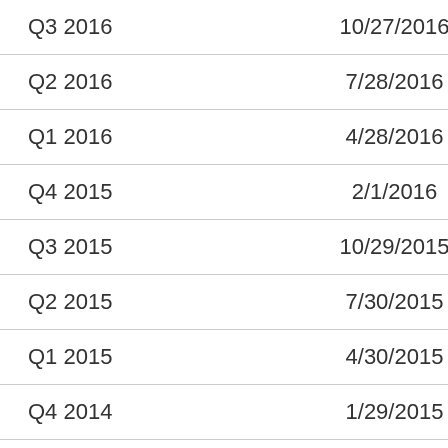| Q3 2016 | 10/27/2016 | 948.90M |
| Q2 2016 | 7/28/2016 | 958.90M |
| Q1 2016 | 4/28/2016 | 938.40M |
| Q4 2015 | 2/1/2016 | 944.60M |
| Q3 2015 | 10/29/2015 | 1.01B |
| Q2 2015 | 7/30/2015 | 997.30M |
| Q1 2015 | 4/30/2015 | 966.20M |
| Q4 2014 | 1/29/2015 | 953.30M |
| Q3 2014 | 10/22/2014 | 997.40M |